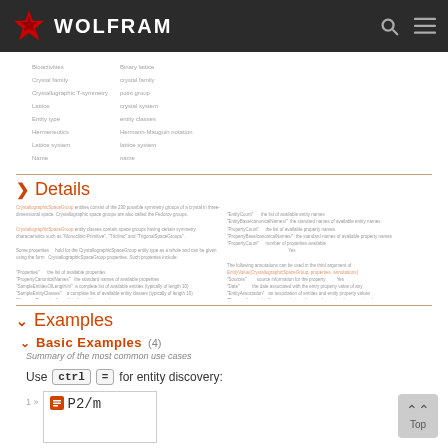[Figure (logo): Wolfram logo with red star and white WOLFRAM text on dark background header]
[Figure (screenshot): Blurred table of crystallographic properties: Bioactivities, Crystal lattice, Crystallographic T-symmetry, Lattice, Entity type, Hermeneutics, Lattice system, Name columns with corresponding values]
Details
[Figure (screenshot): Blurred details content showing CrystallographicSpaceGroup entity descriptions, properties, and annotations table]
Examples
Basic Examples (4)
Summary of the most common use cases
Use ctrl = for entity discovery:
[Figure (screenshot): Wolfram notebook input cell showing: 1 >> [orange cell icon] P2/m]